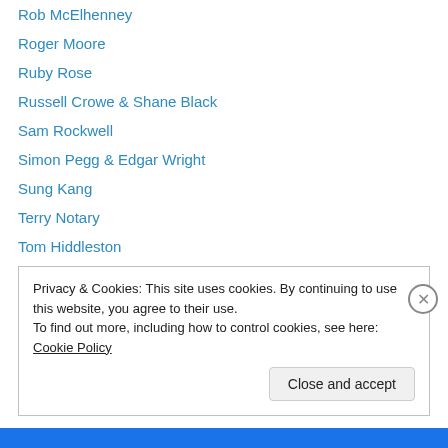Rob McElhenney
Roger Moore
Ruby Rose
Russell Crowe & Shane Black
Sam Rockwell
Simon Pegg & Edgar Wright
Sung Kang
Terry Notary
Tom Hiddleston
Vin Diesel
Vote Afghanistan!
Yvonne Strahovski
Privacy & Cookies: This site uses cookies. By continuing to use this website, you agree to their use. To find out more, including how to control cookies, see here: Cookie Policy
Close and accept